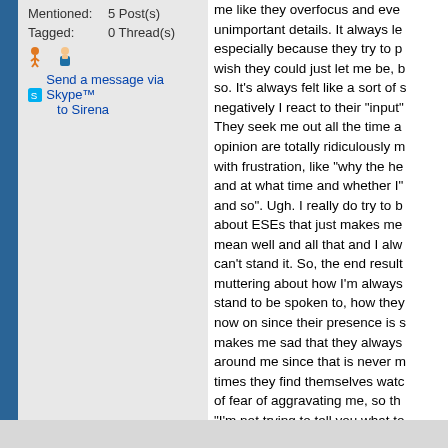Mentioned:  5 Post(s)
Tagged:      0 Thread(s)
[Figure (illustration): Two small person icons (orange stick figure and blue business person avatar)]
Send a message via Skype™ to Sirena
me like they overfocus and eve... unimportant details. It always l... especially because they try to p... wish they could just let me be, b... so. It's always felt like a sort of s... negatively I react to their "input"... They seek me out all the time a... opinion are totally ridiculously m... with frustration, like "why the he... and at what time and whether I"... and so". Ugh. I really do try to b... about ESEs that just makes me... mean well and all that and I alw... can't stand it. So, the end result... muttering about how I'm always... stand to be spoken to, how they... now on since their presence is s... makes me sad that they always... around me since that is never m... times they find themselves watc... of fear of aggravating me, so th... "I'm not trying to tell you what to... sometimes find myself fighting t... believe you are this stupid." It's... horrible person. I think I look do... so superficial. They're sweet pe... know. 😊 God, I suck. 😕